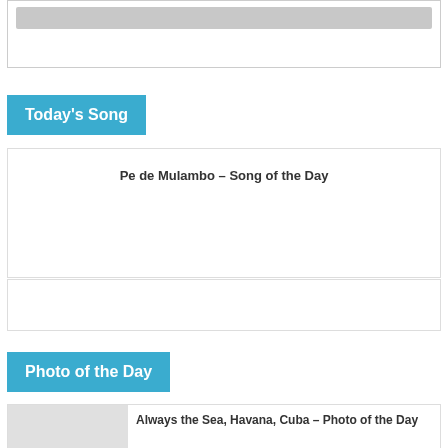[Figure (screenshot): Top portion of a web widget box with a gray placeholder banner]
Today's Song
Pe de Mulambo – Song of the Day
[Figure (screenshot): Empty white card box area]
Photo of the Day
Always the Sea, Havana, Cuba – Photo of the Day